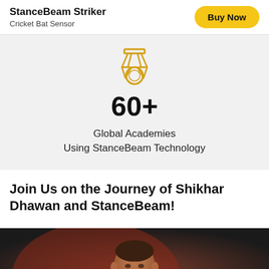StanceBeam Striker
Cricket Bat Sensor
Buy Now
[Figure (illustration): Medal/award ribbon icon in gold/yellow outline style]
60+
Global Academies
Using StanceBeam Technology
Join Us on the Journey of Shikhar Dhawan and StanceBeam!
[Figure (photo): Photo of Shikhar Dhawan, a cricket player, shown from chest up against a dark background]